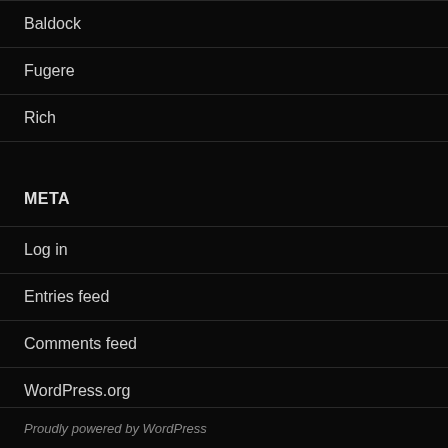Baldock
Fugere
Rich
META
Log in
Entries feed
Comments feed
WordPress.org
Proudly powered by WordPress